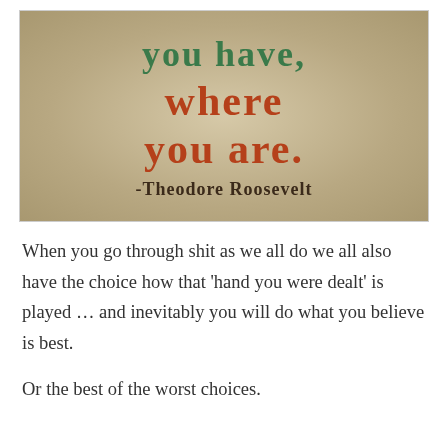[Figure (illustration): Decorative quote image on a tan/beige textured background. Text reads 'You have, where you are.' in large orange decorative letters with green text at top, followed by '-Theodore Roosevelt' in dark brown bold text at bottom.]
When you go through shit as we all do we all also have the choice how that 'hand you were dealt' is played … and inevitably you will do what you believe is best.
Or the best of the worst choices.